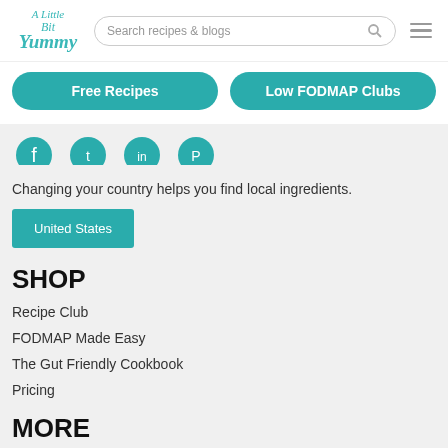A Little Bit Yummy — Search recipes & blogs
[Figure (logo): A Little Bit Yummy logo in teal cursive text]
Free Recipes
Low FODMAP Clubs
[Figure (infographic): Four teal social media icons (partially visible, cropped at top)]
Changing your country helps you find local ingredients.
United States
SHOP
Recipe Club
FODMAP Made Easy
The Gut Friendly Cookbook
Pricing
MORE